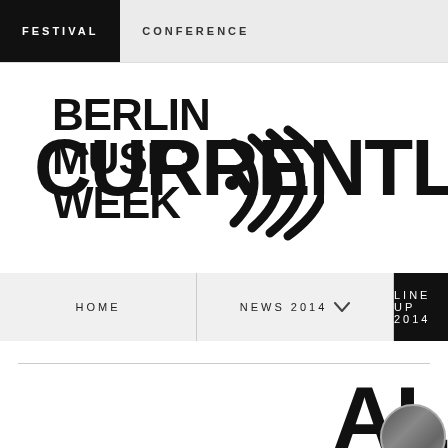FESTIVAL   CONFERENCE
[Figure (logo): Berlin Music Week logo with signal wave icon and CURRENTLY text partially visible on the right]
HOME   NEWS 2014   LINE UP 2014
AL
[Figure (photo): Small circular thumbnail photo partially visible at bottom right]